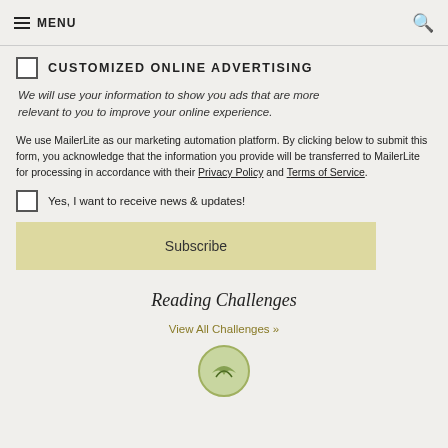MENU
CUSTOMIZED ONLINE ADVERTISING
We will use your information to show you ads that are more relevant to you to improve your online experience.
We use MailerLite as our marketing automation platform. By clicking below to submit this form, you acknowledge that the information you provide will be transferred to MailerLite for processing in accordance with their Privacy Policy and Terms of Service.
Yes, I want to receive news & updates!
Subscribe
Reading Challenges
View All Challenges »
[Figure (logo): Circular logo/badge at the bottom of the page]